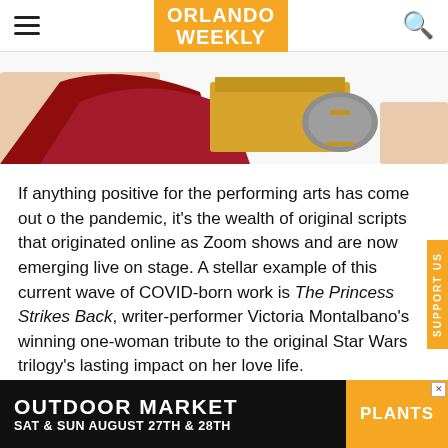ORLANDO WEEKLY
[Figure (photo): Cropped photo showing a person lying down wearing red and yellow/gold costume pieces, with bare legs and feet visible against a white background.]
If anything positive for the performing arts has come out of the pandemic, it's the wealth of original scripts that originated online as Zoom shows and are now emerging live on stage. A stellar example of this current wave of COVID-born work is The Princess Strikes Back, writer-performer Victoria Montalbano's winning one-woman tribute to the original Star Wars trilogy's lasting impact on her love life.
[Figure (infographic): Advertisement banner: OUTDOOR MARKET PLANTS SAT & SUN AUGUST 27TH & 28TH]